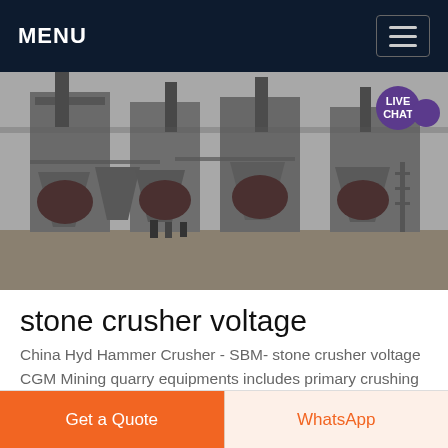MENU
[Figure (photo): Industrial stone crusher machinery facility with large hoppers, conveyor systems, and dust collection units. Workers visible in foreground. Black and white industrial photograph with a 'LIVE CHAT' badge overlay in the top right corner.]
stone crusher voltage
China Hyd Hammer Crusher - SBM- stone crusher voltage CGM Mining quarry equipments includes primary crushing machines such as PE series jaw crusher secondary
Get a Quote
WhatsApp